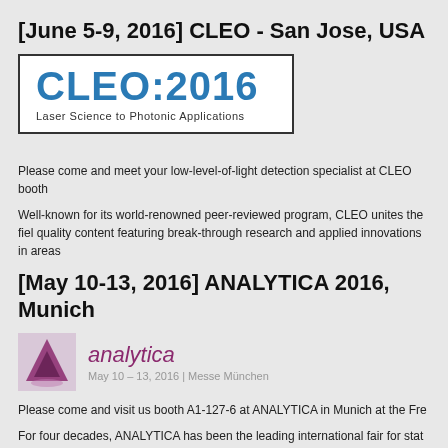[June 5-9, 2016] CLEO - San Jose, USA
[Figure (logo): CLEO:2016 logo with tagline 'Laser Science to Photonic Applications' in a bordered box]
Please come and meet your low-level-of-light detection specialist at CLEO booth
Well-known for its world-renowned peer-reviewed program, CLEO unites the fiel quality content featuring break-through research and applied innovations in areas
[May 10-13, 2016] ANALYTICA 2016, Munich
[Figure (logo): Analytica logo with purple/magenta geometric icon and text 'analytica' with date 'May 10 - 13, 2016 | Messe München']
Please come and visit us booth A1-127-6 at ANALYTICA in Munich at the Fre
For four decades, ANALYTICA has been the leading international fair for stat covers the range of subjects to do with the laboratory in industry and science in
[March. 15-17, 2016] LASER PHOTONICS CHINA 2